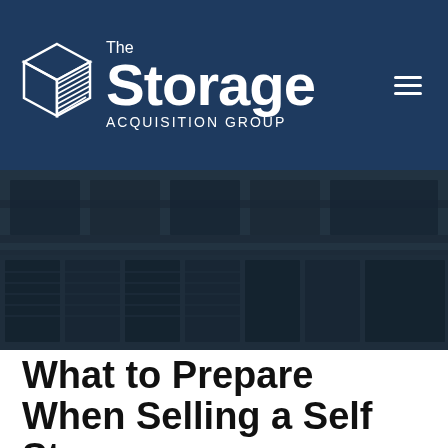[Figure (logo): The Storage Acquisition Group logo — white box/cube icon on left, text 'The Storage ACQUISITION GROUP' on right, all on dark navy background with hamburger menu icon in top right corner]
[Figure (photo): Dark overlay photo of a self storage facility building exterior showing multiple roll-up unit doors and building facade, with dark blue/teal overlay tint]
What to Prepare When Selling a Self Storage